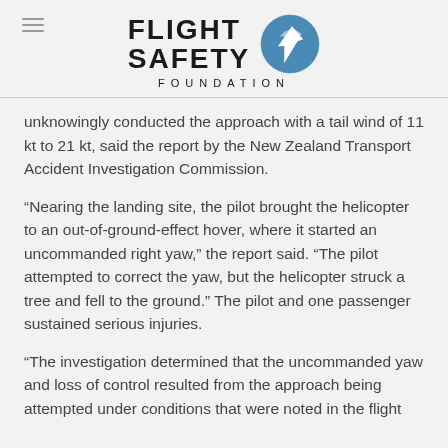[Figure (logo): Flight Safety Foundation logo with airplane icon in blue circle and text FLIGHT SAFETY FOUNDATION]
unknowingly conducted the approach with a tail wind of 11 kt to 21 kt, said the report by the New Zealand Transport Accident Investigation Commission.
“Nearing the landing site, the pilot brought the helicopter to an out-of-ground-effect hover, where it started an uncommanded right yaw,” the report said. “The pilot attempted to correct the yaw, but the helicopter struck a tree and fell to the ground.” The pilot and one passenger sustained serious injuries.
“The investigation determined that the uncommanded yaw and loss of control resulted from the approach being attempted under conditions that were noted in the flight